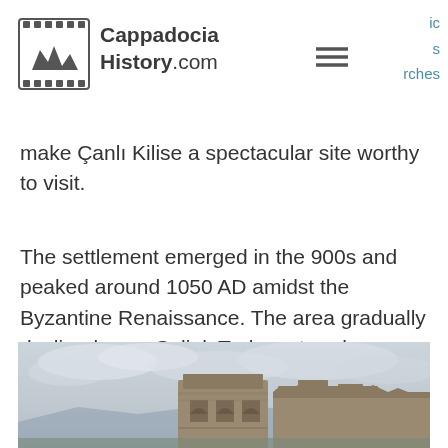Cappadocia History.com
make Çanlı Kilise a spectacular site worthy to visit.
The settlement emerged in the 900s and peaked around 1050 AD amidst the Byzantine Renaissance. The area gradually declined once Seljuk Turks entered Cappadocia by 1100.
[Figure (photo): Photograph of ancient stone ruins of a Byzantine church with arched windows, set against a cloudy sky with a landscape in the background.]